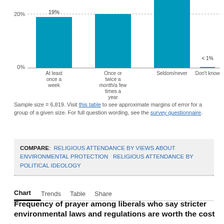[Figure (bar-chart): Frequency of prayer (partial, showing bottom of chart)]
Sample size = 6,819. Visit this table to see approximate margins of error for a group of a given size. For full question wording, see the survey questionnaire.
COMPARE:  RELIGIOUS ATTENDANCE BY VIEWS ABOUT ENVIRONMENTAL PROTECTION  RELIGIOUS ATTENDANCE BY POLITICAL IDEOLOGY
Chart  Trends  Table  Share
Frequency of prayer among liberals who say stricter environmental laws and regulations are worth the cost